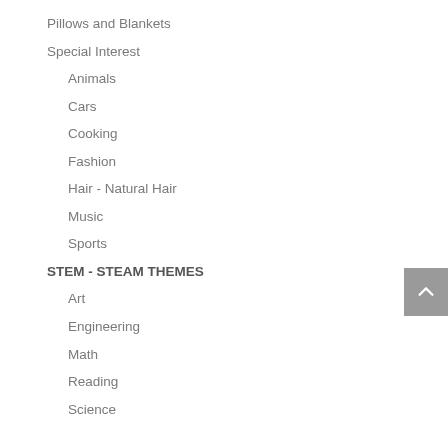Pillows and Blankets
Special Interest
Animals
Cars
Cooking
Fashion
Hair - Natural Hair
Music
Sports
STEM - STEAM THEMES
Art
Engineering
Math
Reading
Science